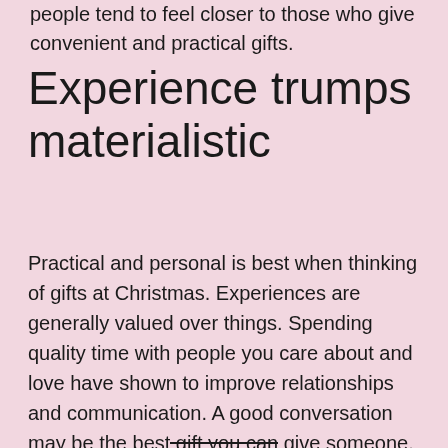people tend to feel closer to those who give convenient and practical gifts.
Experience trumps materialistic
Practical and personal is best when thinking of gifts at Christmas. Experiences are generally valued over things. Spending quality time with people you care about and love have shown to improve relationships and communication. A good conversation may be the best gift you can give someone.